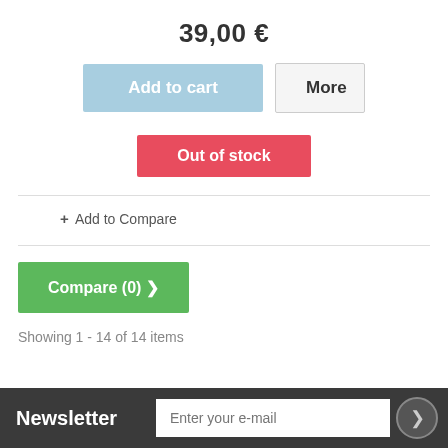39,00 €
Add to cart
More
Out of stock
+ Add to Compare
Compare (0) >
Showing 1 - 14 of 14 items
Newsletter
Enter your e-mail